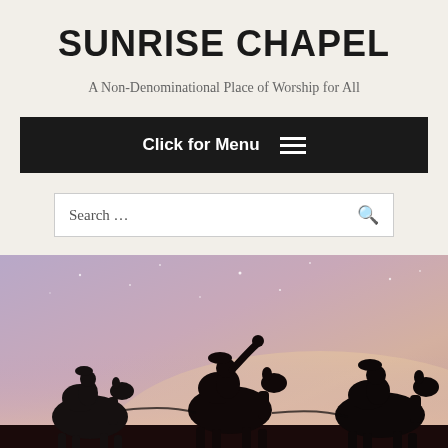SUNRISE CHAPEL
A Non-Denominational Place of Worship for All
Click for Menu ≡
Search …
[Figure (photo): Silhouette of three wise men riding camels across a desert landscape under a starry purple-pink twilight sky]